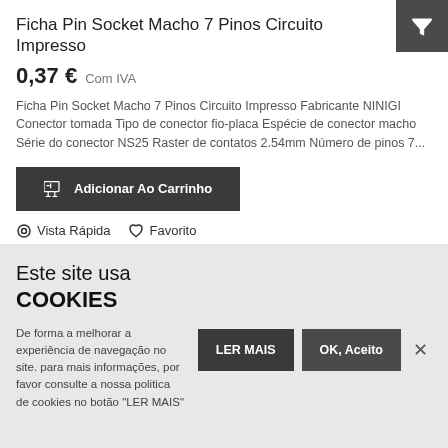Ficha Pin Socket Macho 7 Pinos Circuito Impresso
0,37 €  Com IVA
Ficha Pin Socket Macho 7 Pinos Circuito Impresso Fabricante NINIGI Conector tomada Tipo de conector fio-placa Espécie de conector macho Série do conector NS25 Raster de contatos 2.54mm Número de pinos 7...
Adicionar Ao Carrinho
Vista Rápida  Favorito
Este site usa COOKIES
De forma a melhorar a experiência de navegação no site. para mais informações, por favor consulte a nossa politica de cookies no botão "LER MAIS"
LER MAIS
OK, Aceito